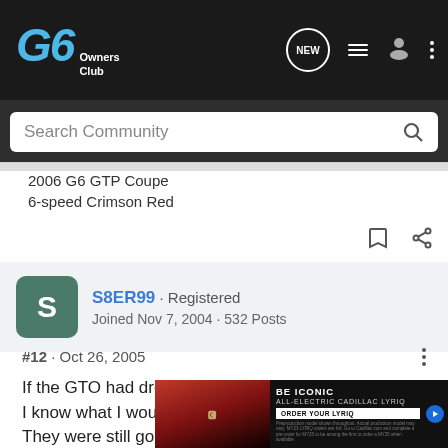[Figure (screenshot): G6 Owners Club website navigation bar with logo, search, and icons]
2006 G6 GTP Coupe
6-speed Crimson Red
S8ER99 · Registered
Joined Nov 7, 2004 · 532 Posts
#12 · Oct 26, 2005
If the GTO had dropped to low 20s when I bought this I know what I would have been driving off the lot. 🙁 They were still going fo
[Figure (screenshot): Cadillac LYRIQ advertisement banner: BE ICONIC ALL-ELECTRIC CADILLAC LYRIQ ORDER YOUR LYRIQ]